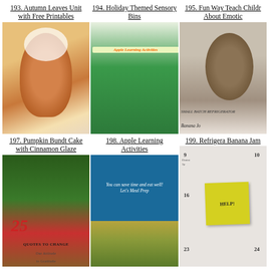193. Autumn Leaves Unit with Free Printables
[Figure (photo): Photo of a pumpkin bundt cake with white cinnamon glaze on a plate]
194. Holiday Themed Sensory Bins
[Figure (photo): Collage of apple learning activities on green background with text 'Apple Learning Activities']
195. Fun Way Teach Childr About Emotic
[Figure (photo): Photo of a smooth brown stone on white background with text 'Small Batch Refrigerator Banana Jo']
197. Pumpkin Bundt Cake with Cinnamon Glaze
[Figure (photo): Image with autumn leaves, large red 25, text 'QUOTES TO CHANGE Our Attitude to Gratitude']
198. Apple Learning Activities
[Figure (photo): Meal prep image with blue box text 'You can save time and eat well! Let's Meal Prep' and food containers below]
199. Refrigera Banana Jam
[Figure (photo): Calendar page with sticky note saying HELP!, numbers 9, 10, 16, 23, 24 visible]